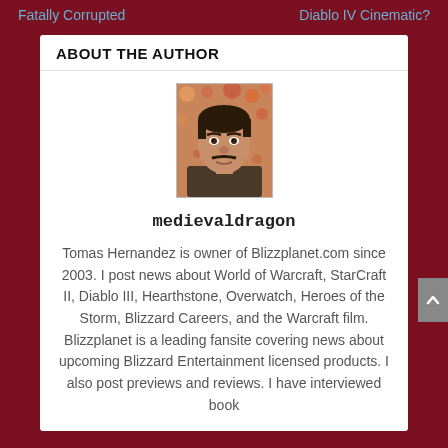Fatally Corrupted    Diablo IV Cinematic?
ABOUT THE AUTHOR
[Figure (photo): Portrait photo of a man with dark hair and mustache against a colorful background]
medievaldragon
Tomas Hernandez is owner of Blizzplanet.com since 2003. I post news about World of Warcraft, StarCraft II, Diablo III, Hearthstone, Overwatch, Heroes of the Storm, Blizzard Careers, and the Warcraft film. Blizzplanet is a leading fansite covering news about upcoming Blizzard Entertainment licensed products. I also post previews and reviews. I have interviewed book